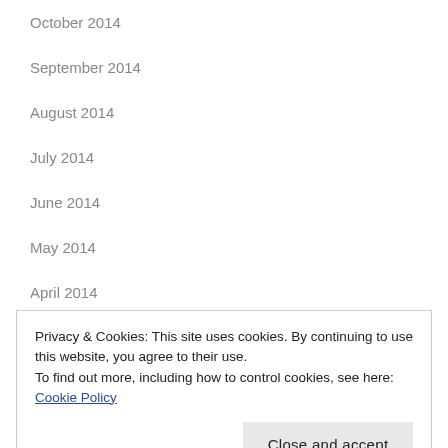October 2014
September 2014
August 2014
July 2014
June 2014
May 2014
April 2014
Privacy & Cookies: This site uses cookies. By continuing to use this website, you agree to their use.
To find out more, including how to control cookies, see here: Cookie Policy
December 2013